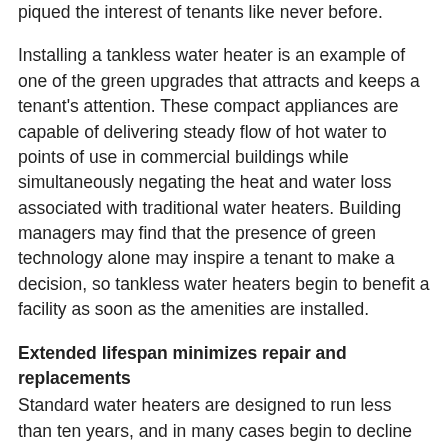piqued the interest of tenants like never before.
Installing a tankless water heater is an example of one of the green upgrades that attracts and keeps a tenant's attention. These compact appliances are capable of delivering steady flow of hot water to points of use in commercial buildings while simultaneously negating the heat and water loss associated with traditional water heaters. Building managers may find that the presence of green technology alone may inspire a tenant to make a decision, so tankless water heaters begin to benefit a facility as soon as the amenities are installed.
Extended lifespan minimizes repair and replacements
Standard water heaters are designed to run less than ten years, and in many cases begin to decline in efficiency as quickly as seven years following the initial installation. This short service life puts facility managers in a tight position with regard to water heater repairs more often than not. When repairs and maintenance issues begin to crop up a few years into the model's service life, managers must contend with the choice of trying to save an inefficient model